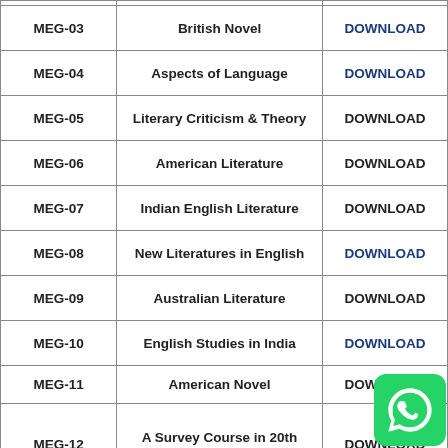| Code | Subject | Action |
| --- | --- | --- |
| MEG-03 | British Novel | DOWNLOAD |
| MEG-04 | Aspects of Language | DOWNLOAD |
| MEG-05 | Literary Criticism & Theory | DOWNLOAD |
| MEG-06 | American Literature | DOWNLOAD |
| MEG-07 | Indian English Literature | DOWNLOAD |
| MEG-08 | New Literatures in English | DOWNLOAD |
| MEG-09 | Australian Literature | DOWNLOAD |
| MEG-10 | English Studies in India | DOWNLOAD |
| MEG-11 | American Novel | DOWNLOAD |
| MEG-12 | A Survey Course in 20th Century Canadian Literature | DOWNLOAD |
| MEG-13 | WRITINGS FROM THE MARGINS | DOWNLOAD |
|  | Contemporary Indian |  |